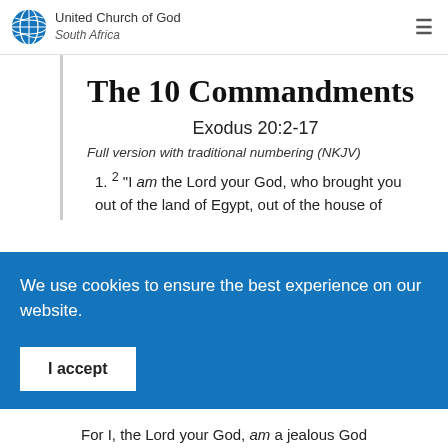United Church of God South Africa
The 10 Commandments
Exodus 20:2-17
Full version with traditional numbering (NKJV)
1. ² “I am the Lord your God, who brought you out of the land of Egypt, out of the house of
We use cookies to ensure the best experience on our website.
I accept
For I, the Lord your God, am a jealous God